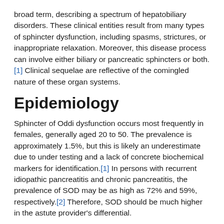broad term, describing a spectrum of hepatobiliary disorders. These clinical entities result from many types of sphincter dysfunction, including spasms, strictures, or inappropriate relaxation. Moreover, this disease process can involve either biliary or pancreatic sphincters or both. [1] Clinical sequelae are reflective of the comingled nature of these organ systems.
Epidemiology
Sphincter of Oddi dysfunction occurs most frequently in females, generally aged 20 to 50. The prevalence is approximately 1.5%, but this is likely an underestimate due to under testing and a lack of concrete biochemical markers for identification.[1] In persons with recurrent idiopathic pancreatitis and chronic pancreatitis, the prevalence of SOD may be as high as 72% and 59%, respectively.[2] Therefore, SOD should be much higher in the astute provider's differential.
Risks factors for the development of SOD multiple, and include prior cholecystectomy, gallbladder agenesis,